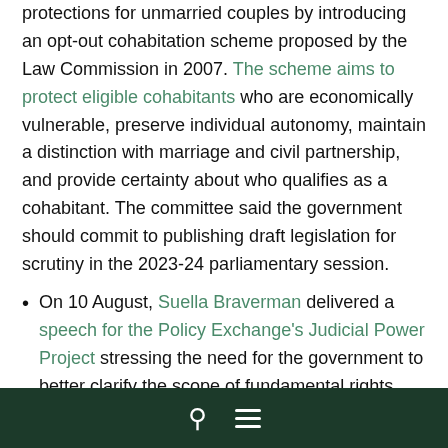protections for unmarried couples by introducing an opt-out cohabitation scheme proposed by the Law Commission in 2007. The scheme aims to protect eligible cohabitants who are economically vulnerable, preserve individual autonomy, maintain a distinction with marriage and civil partnership, and provide certainty about who qualifies as a cohabitant. The committee said the government should commit to publishing draft legislation for scrutiny in the 2023-24 parliamentary session.
On 10 August, Suella Braverman delivered a speech for the Policy Exchange's Judicial Power Project stressing the need for the government to better clarify the scope of fundamental rights. She called to curb the influence of the European Court of Human Rights, citing the 'intensive standard of proportionality under the Human
🔍 ☰